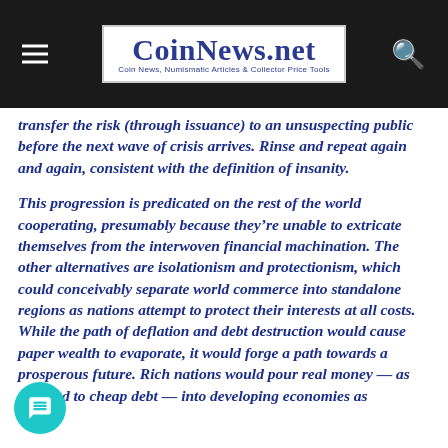CoinNews.net — Coin News, Numismatic Articles & Collector Price Tools
transfer the risk (through issuance) to an unsuspecting public before the next wave of crisis arrives. Rinse and repeat again and again, consistent with the definition of insanity.
This progression is predicated on the rest of the world cooperating, presumably because they're unable to extricate themselves from the interwoven financial machination. The other alternatives are isolationism and protectionism, which could conceivably separate world commerce into standalone regions as nations attempt to protect their interests at all costs. While the path of deflation and debt destruction would cause paper wealth to evaporate, it would forge a path towards a prosperous future. Rich nations would pour real money — as opposed to cheap debt — into developing economies as